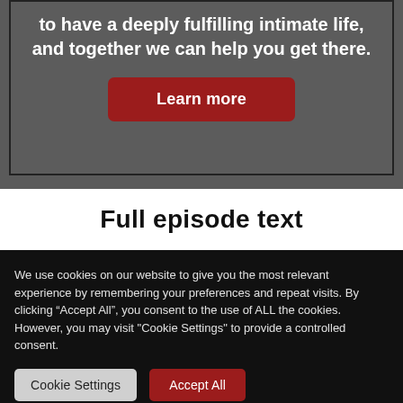to have a deeply fulfilling intimate life, and together we can help you get there.
Learn more
Full episode text
We use cookies on our website to give you the most relevant experience by remembering your preferences and repeat visits. By clicking “Accept All”, you consent to the use of ALL the cookies. However, you may visit "Cookie Settings" to provide a controlled consent.
Cookie Settings
Accept All